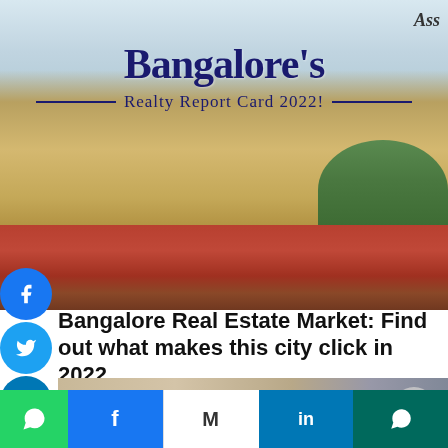[Figure (photo): Aerial view of Bangalore cityscape with headline overlay reading Bangalore's Realty Report Card 2022!]
Bangalore Real Estate Market: Find out what makes this city click in 2022
[Figure (photo): Partial view of a building/property image strip with logo text]
Social share bar with WhatsApp, Facebook, Gmail, LinkedIn, WhatsApp icons